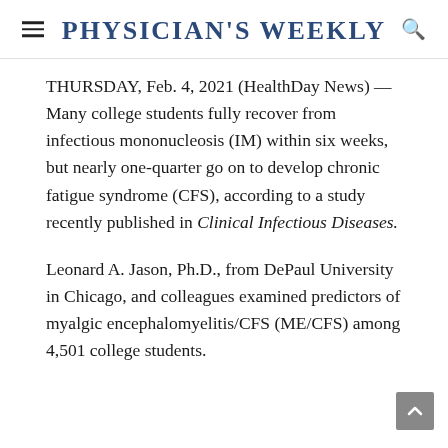Physician's Weekly
THURSDAY, Feb. 4, 2021 (HealthDay News) — Many college students fully recover from infectious mononucleosis (IM) within six weeks, but nearly one-quarter go on to develop chronic fatigue syndrome (CFS), according to a study recently published in Clinical Infectious Diseases.
Leonard A. Jason, Ph.D., from DePaul University in Chicago, and colleagues examined predictors of myalgic encephalomyelitis/CFS (ME/CFS) among 4,501 college students.